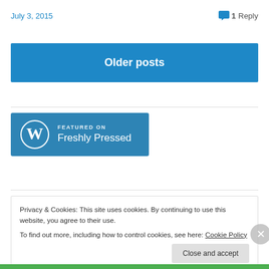July 3, 2015
1 Reply
Older posts
[Figure (logo): Featured on Freshly Pressed badge with WordPress logo]
Privacy & Cookies: This site uses cookies. By continuing to use this website, you agree to their use.
To find out more, including how to control cookies, see here: Cookie Policy
Close and accept